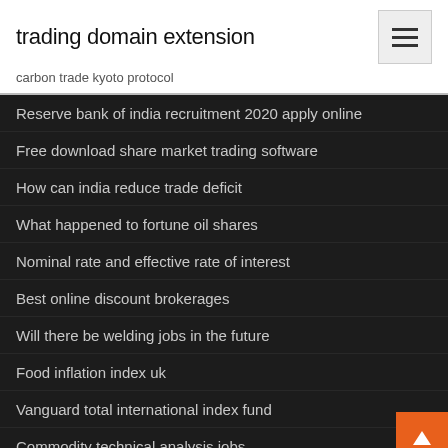trading domain extension
carbon trade kyoto protocol
Reserve bank of india recruitment 2020 apply online
Free download share market trading software
How can india reduce trade deficit
What happened to fortune oil shares
Nominal rate and effective rate of interest
Best online discount brokerages
Will there be welding jobs in the future
Food inflation index uk
Vanguard total international index fund
Commodity technical analysis jobs